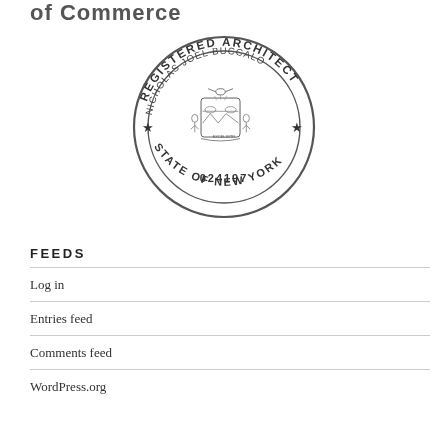of Commerce
[Figure (illustration): Circular official stamp reading: REGISTERED ARCHITECT, NICHOLAS JOEL BUCCALO, STATE OF NEW YORK, 024197, with New York State seal in center and stars on either side]
FEEDS
Log in
Entries feed
Comments feed
WordPress.org